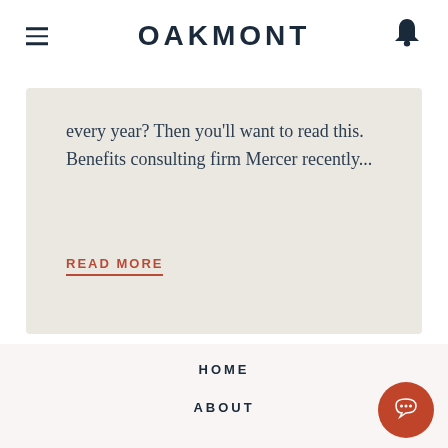OAKMONT
every year? Then you'll want to read this.  Benefits consulting firm Mercer recently...
READ MORE
HOME
ABOUT